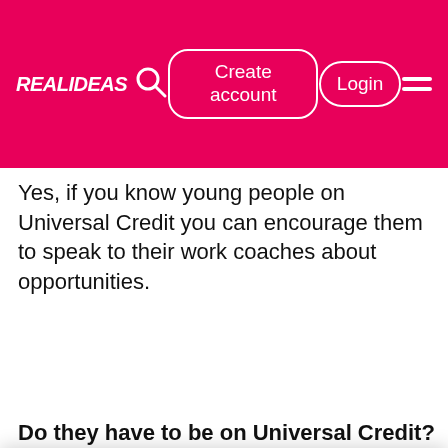[Figure (screenshot): Real Ideas website navigation bar with pink/magenta background. Contains the Real Ideas logo (white italic bold text), a search icon, a 'Create account' button with rounded rectangle border, a 'Login' button with rounded border, and a hamburger menu icon. All elements are white on pink background.]
Yes, if you know young people on Universal Credit you can encourage them to speak to their work coaches about opportunities.
Do they have to be on Universal Credit?
This website stores cookies on your computer. These cookies are used to improve your website experience and provide more personalized services to you, both on this website and through other media. To find out more about the cookies we use, see our Privacy Policy.
We won't track your information when you visit our site. But in order to comply with your preferences, we'll have to use just one tiny cookie so that you're not asked to make this choice again.
Cookie Settings
Accept
Decline